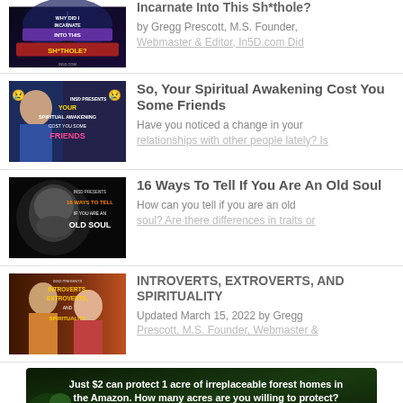[Figure (screenshot): Thumbnail image: WHY DID I INCARNATE INTO THIS SH*THOLE? title card with silhouette figure]
Incarnate Into This Sh*thole?
by Gregg Prescott, M.S. Founder, Webmaster & Editor, In5D.com Did...
[Figure (screenshot): Thumbnail: INSD Presents YOUR SPIRITUAL AWAKENING COST YOU SOME FRIENDS with emoji]
So, Your Spiritual Awakening Cost You Some Friends
Have you noticed a change in your relationships with other people lately? Is...
[Figure (screenshot): Thumbnail: INSD PRESENTS 16 WAYS TO TELL IF YOU ARE AN OLD SOUL with elderly face]
16 Ways To Tell If You Are An Old Soul
How can you tell if you are an old soul? Are there differences in traits or...
[Figure (screenshot): Thumbnail: INSD PRESENTS INTROVERTS, EXTROVERTS, AND SPIRITUALITY with portraits]
INTROVERTS, EXTROVERTS, AND SPIRITUALITY
Updated March 15, 2022 by Gregg Prescott, M.S. Founder, Webmaster &...
[Figure (infographic): Advertisement banner: Just $2 can protect 1 acre of irreplaceable forest homes in the Amazon. How many acres are you willing to protect? PROTECT FORESTS NOW]
x